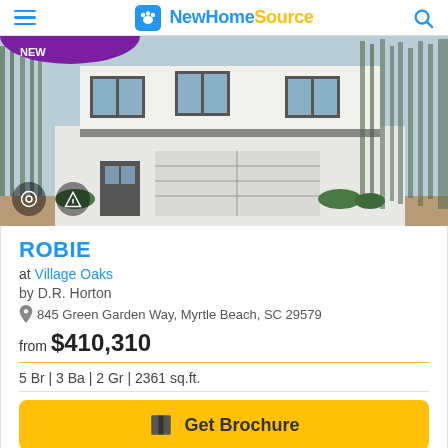NewHomeSource
[Figure (photo): Exterior photo of a two-story white house with black shutters, double garage door, and trees in background. Purple badge partially visible in top-left corner.]
ROBIE
at Village Oaks
by D.R. Horton
845 Green Garden Way, Myrtle Beach, SC 29579
from $410,310
5 Br | 3 Ba | 2 Gr | 2361 sq.ft.
Get Brochure